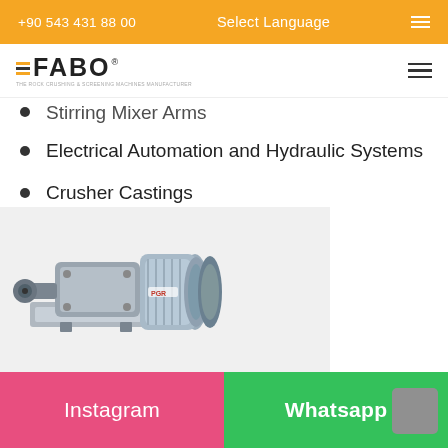+90 543 431 88 00   Select Language
FABO logo navigation
Stirring Mixer Arms
Electrical Automation and Hydraulic Systems
Crusher Castings
[Figure (photo): Industrial gear motor/reducer unit with PGR branding, metallic silver/chrome finish, shown at bottom of page]
Instagram   Whatsapp